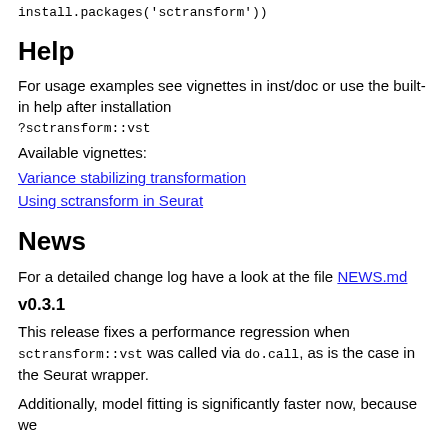install.packages('sctransform'))
Help
For usage examples see vignettes in inst/doc or use the built-in help after installation
?sctransform::vst
Available vignettes:
Variance stabilizing transformation
Using sctransform in Seurat
News
For a detailed change log have a look at the file NEWS.md
v0.3.1
This release fixes a performance regression when sctransform::vst was called via do.call, as is the case in the Seurat wrapper.
Additionally, model fitting is significantly faster now, because we